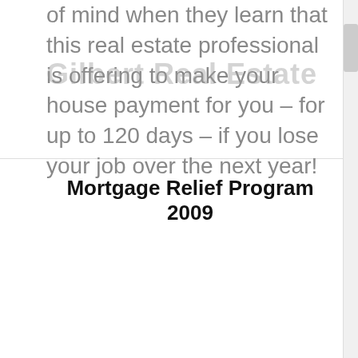of mind when they learn that this real estate professional is offering to make your house payment for you – for up to 120 days – if you lose your job over the next year!
Gilbert Real Estate
Mortgage Relief Program 2009